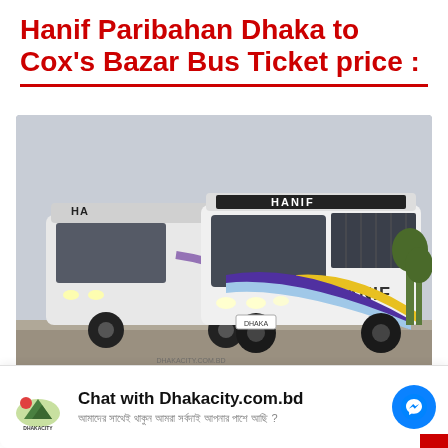Hanif Paribahan Dhaka to Cox's Bazar Bus Ticket price :
[Figure (photo): Two white Hanif Paribahan buses on a road, with 'HANIF' branding on the front and side, purple/blue/gold stripe design]
Chat with Dhakacity.com.bd
আমাদের সাথেই থাকুন আমরা সর্বদাই আপনার পাশে আছি ?